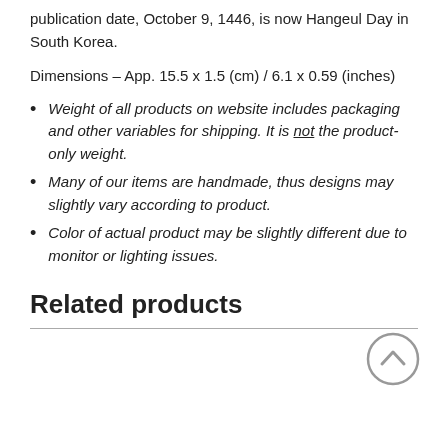publication date, October 9, 1446, is now Hangeul Day in South Korea.
Dimensions – App. 15.5 x 1.5 (cm) / 6.1 x 0.59 (inches)
Weight of all products on website includes packaging and other variables for shipping. It is not the product-only weight.
Many of our items are handmade, thus designs may slightly vary according to product.
Color of actual product may be slightly different due to monitor or lighting issues.
Related products
[Figure (other): Scroll-to-top chevron button circle icon]